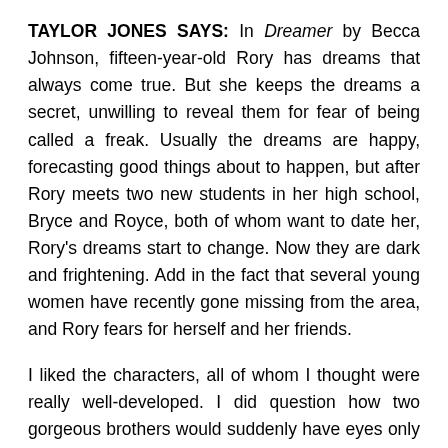TAYLOR JONES SAYS: In Dreamer by Becca Johnson, fifteen-year-old Rory has dreams that always come true. But she keeps the dreams a secret, unwilling to reveal them for fear of being called a freak. Usually the dreams are happy, forecasting good things about to happen, but after Rory meets two new students in her high school, Bryce and Royce, both of whom want to date her, Rory's dreams start to change. Now they are dark and frightening. Add in the fact that several young women have recently gone missing from the area, and Rory fears for herself and her friends.
I liked the characters, all of whom I thought were really well-developed. I did question how two gorgeous brothers would suddenly have eyes only for one 15-year-old girl who hasn't really had any particular male attention before this, but it's not that implausible, I guess. The story is interesting, the plot strong, and the characters charming.